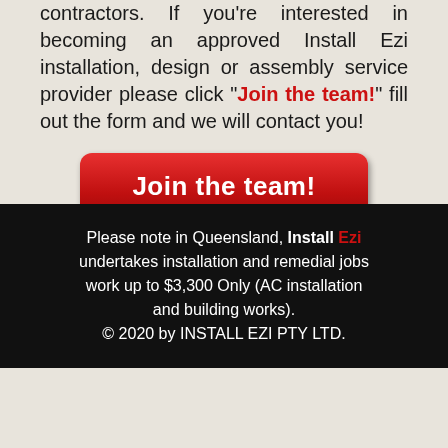contractors. If you're interested in becoming an approved Install Ezi installation, design or assembly service provider please click "Join the team!" fill out the form and we will contact you!
[Figure (other): Red button with white bold text reading 'Join the team!']
Please note in Queensland, Install Ezi undertakes installation and remedial jobs work up to $3,300 Only (AC installation and building works). © 2020 by INSTALL EZI PTY LTD.